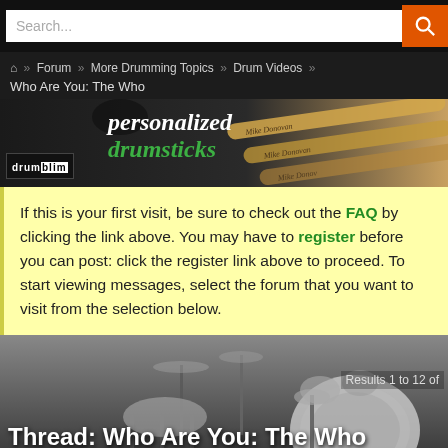Search...
Forum » More Drumming Topics » Drum Videos » Who Are You: The Who
[Figure (photo): Personalized drumsticks advertisement banner with drumstick imagery and drumblim logo]
If this is your first visit, be sure to check out the FAQ by clicking the link above. You may have to register before you can post: click the register link above to proceed. To start viewing messages, select the forum that you want to visit from the selection below.
[Figure (photo): Black and white photo of a drum kit set with Results 1 to 12 of text overlay]
Thread: Who Are You: The Who
Thread Tools ∨  Display ∨